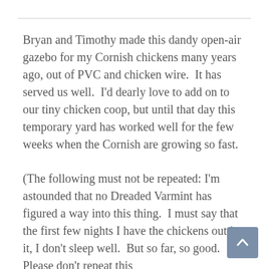Bryan and Timothy made this dandy open-air gazebo for my Cornish chickens many years ago, out of PVC and chicken wire.  It has served us well.  I'd dearly love to add on to our tiny chicken coop, but until that day this temporary yard has worked well for the few weeks when the Cornish are growing so fast.
(The following must not be repeated: I'm astounded that no Dreaded Varmint has figured a way into this thing.  I must say that the first few nights I have the chickens out in it, I don't sleep well.  But so far, so good. Please don't repeat this